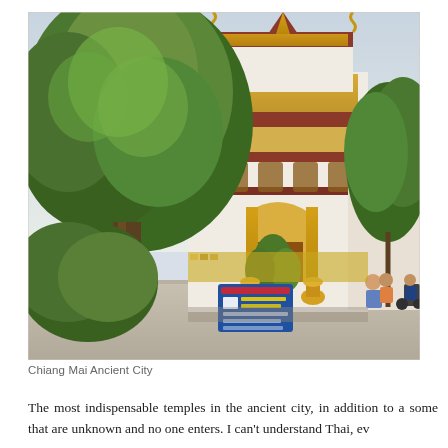[Figure (photo): Photograph of a Thai Buddhist temple in Chiang Mai Ancient City, showing ornate traditional architecture with golden decorations, red and white facade, multiple tiers with naga serpent motifs, surrounded by lush green tropical trees and plants. A blue sign in Thai script is visible at the base. People are visible in the background on the right side.]
Chiang Mai Ancient City
The most indispensable temples in the ancient city, in addition to a some that are unknown and no one enters. I can't understand Thai, ev